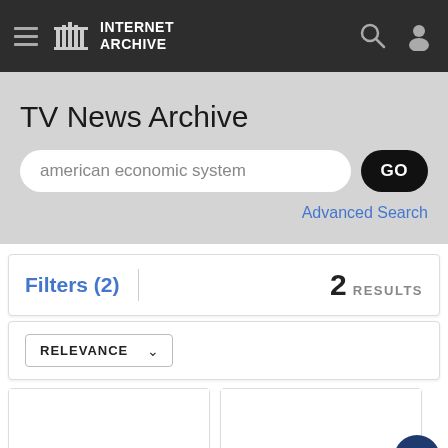Internet Archive
TV News Archive
american economic system
Advanced Search
Filters (2)
2 RESULTS
RELEVANCE